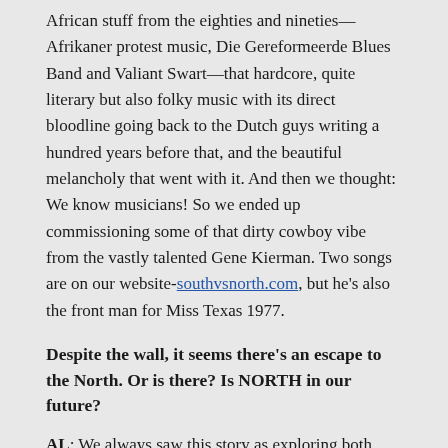African stuff from the eighties and nineties—Afrikaner protest music, Die Gereformeerde Blues Band and Valiant Swart—that hardcore, quite literary but also folky music with its direct bloodline going back to the Dutch guys writing a hundred years before that, and the beautiful melancholy that went with it. And then we thought: We know musicians! So we ended up commissioning some of that dirty cowboy vibe from the vastly talented Gene Kierman. Two songs are on our website-southvsnorth.com, but he's also the front man for Miss Texas 1977.
Despite the wall, it seems there's an escape to the North. Or is there? Is NORTH in our future?
AL: We always saw this story as exploring both sides of the wall. I think there's wonderful intrigue built into SOUTH, where everything they know about the North is